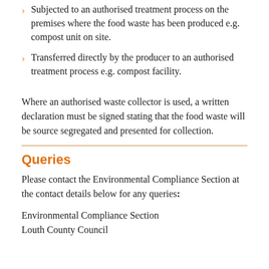Subjected to an authorised treatment process on the premises where the food waste has been produced e.g. compost unit on site.
Transferred directly by the producer to an authorised treatment process e.g. compost facility.
Where an authorised waste collector is used, a written declaration must be signed stating that the food waste will be source segregated and presented for collection.
Queries
Please contact the Environmental Compliance Section at the contact details below for any queries:
Environmental Compliance Section
Louth County Council